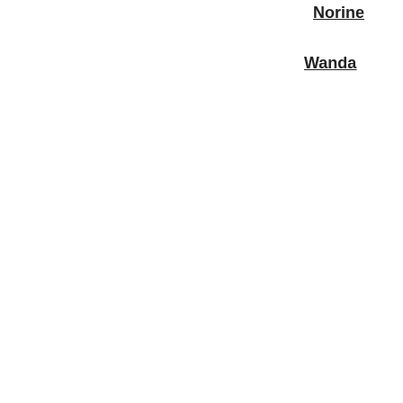Norine
Wanda
Posted at 04:00 AM in Papercrafting | Permalink
[Figure (other): Tweet button]
[Figure (other): Pin it button]
Comments
You can follow this conversation by subscribing to the comment feed for this post.
[Figure (illustration): Green flower pattern avatar for Troy Louise Seegmiller]
Oh my! Darling Christmas go... cookies & milk. Thanks.
Posted by: Troy Louise Seegmiller
[Figure (illustration): Green flower pattern avatar for second commenter]
Beyond cute!!! All of these pr... time - I love all the colors you...